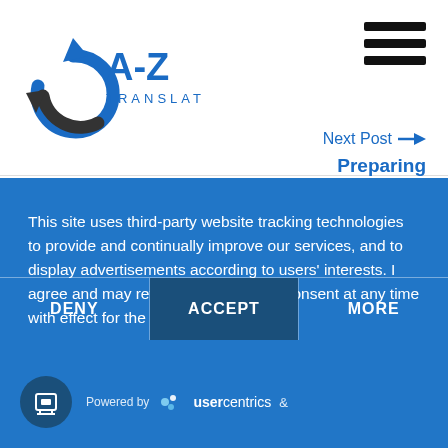[Figure (logo): A-Z Translations logo with circular arrows and text]
[Figure (other): Hamburger menu icon (three horizontal black bars)]
Next Post →
Preparing
This site uses third-party website tracking technologies to provide and continually improve our services, and to display advertisements according to users' interests. I agree and may revoke or change my consent at any time with effect for the future.
DENY
ACCEPT
MORE
Powered by usercentrics &